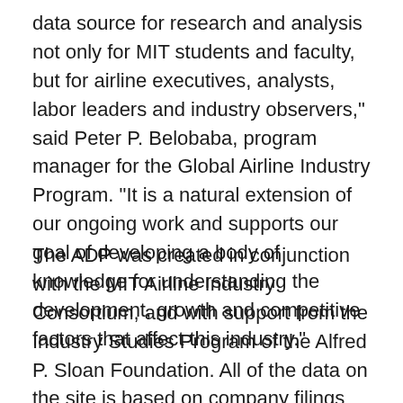data source for research and analysis not only for MIT students and faculty, but for airline executives, analysts, labor leaders and industry observers," said Peter P. Belobaba, program manager for the Global Airline Industry Program. "It is a natural extension of our ongoing work and supports our goal of developing a body of knowledge for understanding the development, growth and competitive factors that affect this industry."
The ADP was created in conjunction with the MIT Airline Industry Consortium, and with support from the Industry Studies Program of the Alfred P. Sloan Foundation. All of the data on the site is based on company filings with the U.S. Department of Transportation and the Securities and Exchange